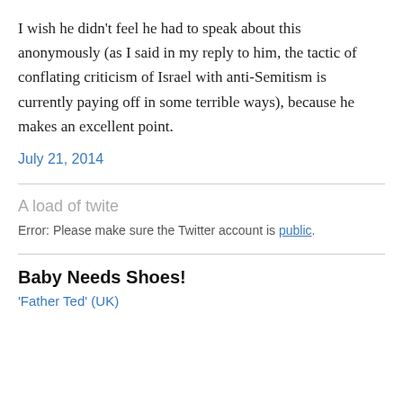I wish he didn't feel he had to speak about this anonymously (as I said in my reply to him, the tactic of conflating criticism of Israel with anti-Semitism is currently paying off in some terrible ways), because he makes an excellent point.
July 21, 2014
A load of twite
Error: Please make sure the Twitter account is public.
Baby Needs Shoes!
'Father Ted' (UK)